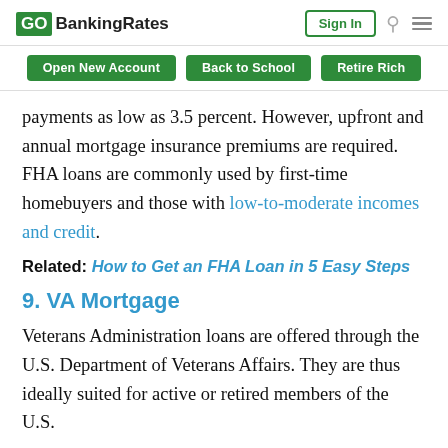GOBankingRates | Sign In | Search | Menu
Open New Account | Back to School | Retire Rich
payments as low as 3.5 percent. However, upfront and annual mortgage insurance premiums are required. FHA loans are commonly used by first-time homebuyers and those with low-to-moderate incomes and credit.
Related: How to Get an FHA Loan in 5 Easy Steps
9. VA Mortgage
Veterans Administration loans are offered through the U.S. Department of Veterans Affairs. They are thus ideally suited for active or retired members of the U.S.